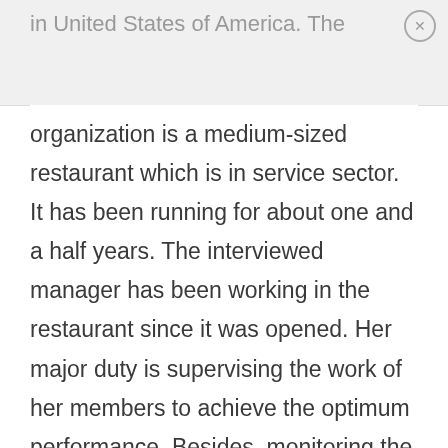in United States of America. The
organization is a medium-sized restaurant which is in service sector. It has been running for about one and a half years. The interviewed manager has been working in the restaurant since it was opened. Her major duty is supervising the work of her members to achieve the optimum performance. Besides, monitoring the members work becomes her daily responsibility. Evaluation of Katz's Managerial Skills